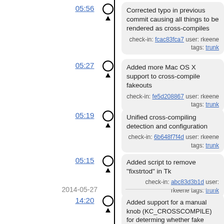05:56 — Corrected typo in previous commit causing all things to be rendered as cross-compiles. check-in: fcac83fca7 user: rkeene tags: trunk
05:27 — Added more Mac OS X support to cross-compile fakeouts. check-in: fe5d208867 user: rkeene tags: trunk
05:19 — Unified cross-compiling detection and configuration. check-in: 6b648f7f4d user: rkeene tags: trunk
05:15 — Added script to remove "fixstrtod" in Tk. check-in: abc83d3b1d user: rkeene tags: trunk
2014-05-27
14:20 — Added support for a manual knob (KC_CROSSCOMPILE) for determing whether fake xmkmf wrapper is used. check-in: f49c630023 user: rkeene tags: trunk
13:44 — Updated to create a fake "xmkmf" when cross-